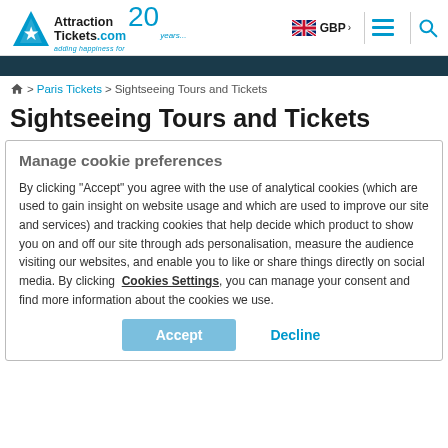[Figure (logo): AttractionTickets.com logo with star icon and '20 years' text in blue]
GBP > [menu icon] [search icon]
Home > Paris Tickets > Sightseeing Tours and Tickets
Sightseeing Tours and Tickets
Manage cookie preferences
By clicking "Accept" you agree with the use of analytical cookies (which are used to gain insight on website usage and which are used to improve our site and services) and tracking cookies that help decide which product to show you on and off our site through ads personalisation, measure the audience visiting our websites, and enable you to like or share things directly on social media. By clicking  Cookies Settings, you can manage your consent and find more information about the cookies we use.
Accept | Decline